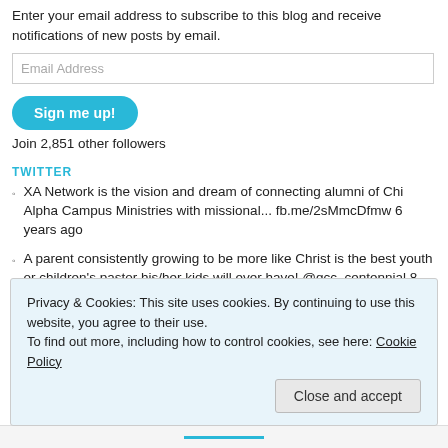Enter your email address to subscribe to this blog and receive notifications of new posts by email.
Email Address
Sign me up!
Join 2,851 other followers
TWITTER
XA Network is the vision and dream of connecting alumni of Chi Alpha Campus Ministries with missional... fb.me/2sMmcDfmw 6 years ago
A parent consistently growing to be more like Christ is the best youth or children's pastor his/her kids will ever have! @gcc_centennial 8 years ago
Privacy & Cookies: This site uses cookies. By continuing to use this website, you agree to their use.
To find out more, including how to control cookies, see here: Cookie Policy
Close and accept